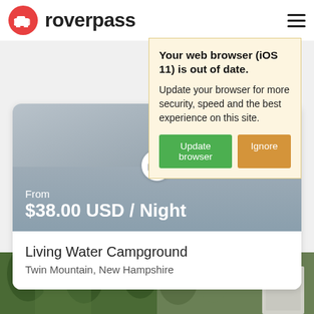roverpass
[Figure (screenshot): Browser update warning popup with yellow background. Title: 'Your web browser (iOS 11) is out of date.' Body: 'Update your browser for more security, speed and the best experience on this site.' Two buttons: 'Update browser' (green) and 'Ignore' (orange).]
From
$38.00 USD / Night
Living Water Campground
Twin Mountain, New Hampshire
[Figure (photo): Outdoor campground photo showing trees and a campsite at the bottom of the page.]